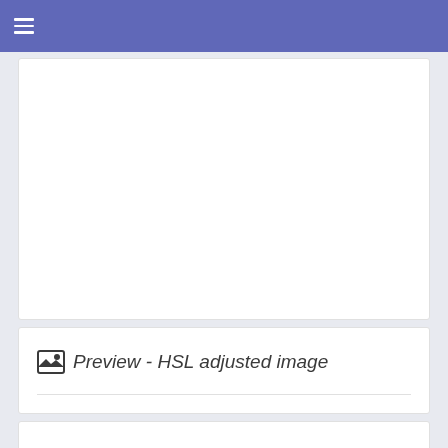[Figure (screenshot): Top navigation bar with hamburger menu icon on purple/blue background]
[Figure (screenshot): White card panel area (empty content)]
Preview - HSL adjusted image
[Figure (screenshot): White card panel area at bottom (partially visible)]